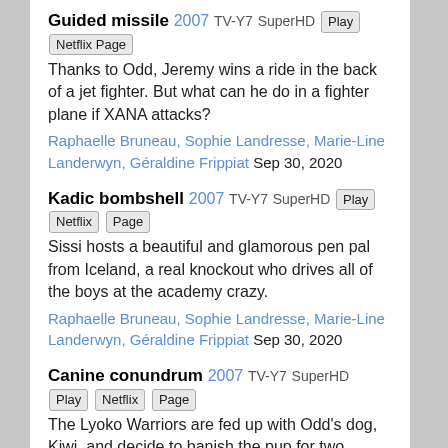Guided missile 2007 TV-Y7 SuperHD Play Netflix Page
Thanks to Odd, Jeremy wins a ride in the back of a jet fighter. But what can he do in a fighter plane if XANA attacks?
Raphaelle Bruneau, Sophie Landresse, Marie-Line Landerwyn, Géraldine Frippiat Sep 30, 2020
Kadic bombshell 2007 TV-Y7 SuperHD Play Netflix Page
Sissi hosts a beautiful and glamorous pen pal from Iceland, a real knockout who drives all of the boys at the academy crazy.
Raphaelle Bruneau, Sophie Landresse, Marie-Line Landerwyn, Géraldine Frippiat Sep 30, 2020
Canine conundrum 2007 TV-Y7 SuperHD Play Netflix Page
The Lyoko Warriors are fed up with Odd's dog, Kiwi, and decide to banish the pup for two weeks.
Raphaelle Bruneau, Sophie Landresse, Marie-Line Landerwyn, Géraldine Frippiat Sep 30, 2020
A space oddity 2007 TV-Y7 SuperHD Play Netflix Page
During a surprise dorm inspection, Odd begs Yumi to